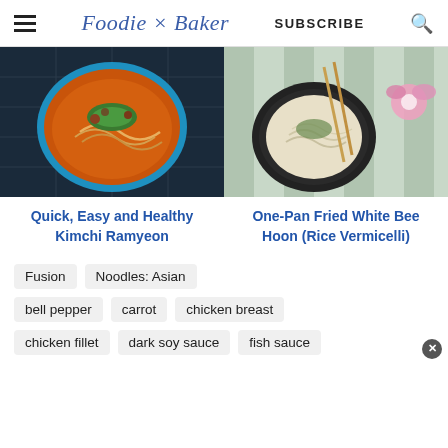Foodie × Baker | SUBSCRIBE
[Figure (photo): Overhead shot of a blue bowl of kimchi ramyeon noodles with green onions on a dark grid tablecloth]
[Figure (photo): Overhead shot of a black bowl of fried white bee hoon (rice vermicelli) with chopsticks and a pink flower on a striped cloth]
Quick, Easy and Healthy Kimchi Ramyeon
One-Pan Fried White Bee Hoon (Rice Vermicelli)
Fusion
Noodles: Asian
bell pepper
carrot
chicken breast
chicken fillet
dark soy sauce
fish sauce